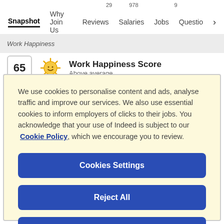Snapshot  Why Join Us  29 Reviews  978 Salaries  Jobs  9 Questio >
Work Happiness
Work Happiness Score
65  Above average
We use cookies to personalise content and ads, analyse traffic and improve our services. We also use essential cookies to inform employers of clicks to their jobs. You acknowledge that your use of Indeed is subject to our Cookie Policy, which we encourage you to review.
Cookies Settings
Reject All
Accept All Cookies